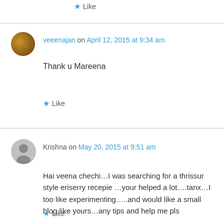Like
veeenajan on April 12, 2015 at 9:34 am
Thank u Mareena
Like
Krishna on May 20, 2015 at 9:51 am
Hai veena chechi…I was searching for a thrissur style eriserry recepie …your helped a lot….tanx…I too like experimenting…..and would like a small blog like yours…any tips and help me pls
Like